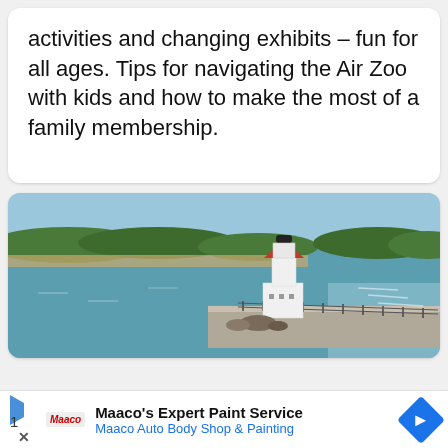activities and changing exhibits – fun for all ages. Tips for navigating the Air Zoo with kids and how to make the most of a family membership.
[Figure (photo): Aerial photo of a white lighthouse with a red roof on a pier/breakwater extending into a large lake or bay. Sandy beach and tree-lined shore visible in the background under a partly cloudy sky.]
Maaco's Expert Paint Service
Maaco Auto Body Shop & Painting